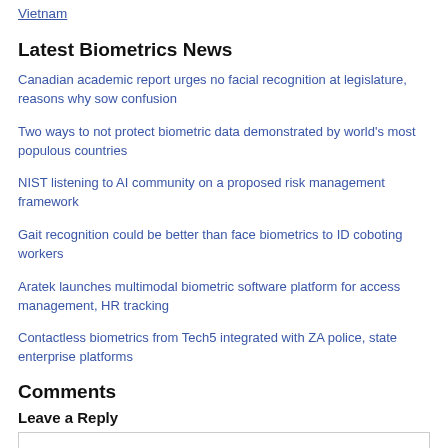Vietnam
Latest Biometrics News
Canadian academic report urges no facial recognition at legislature, reasons why sow confusion
Two ways to not protect biometric data demonstrated by world's most populous countries
NIST listening to AI community on a proposed risk management framework
Gait recognition could be better than face biometrics to ID coboting workers
Aratek launches multimodal biometric software platform for access management, HR tracking
Contactless biometrics from Tech5 integrated with ZA police, state enterprise platforms
Comments
Leave a Reply
Enter your comment here...